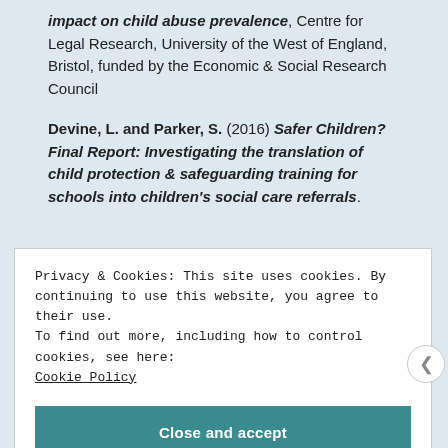impact on child abuse prevalence, Centre for Legal Research, University of the West of England, Bristol, funded by the Economic & Social Research Council
Devine, L. and Parker, S. (2016) Safer Children? Final Report: Investigating the translation of child protection & safeguarding training for schools into children's social care referrals.
Privacy & Cookies: This site uses cookies. By continuing to use this website, you agree to their use.
To find out more, including how to control cookies, see here:
Cookie Policy
Close and accept